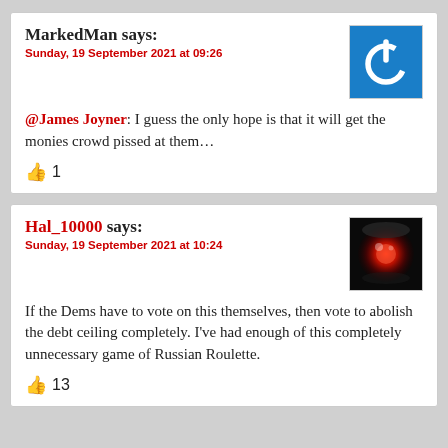MarkedMan says: Sunday, 19 September 2021 at 09:26 @James Joyner: I guess the only hope is that it will get the monies crowd pissed at them… 👍 1
[Figure (illustration): Blue square with white power/on button icon (circle with line at top)]
Hal_10000 says: Sunday, 19 September 2021 at 10:24 If the Dems have to vote on this themselves, then vote to abolish the debt ceiling completely. I've had enough of this completely unnecessary game of Russian Roulette. 👍 13
[Figure (photo): Dark photo showing a red glowing eye/lens, resembling HAL 9000 from 2001: A Space Odyssey]